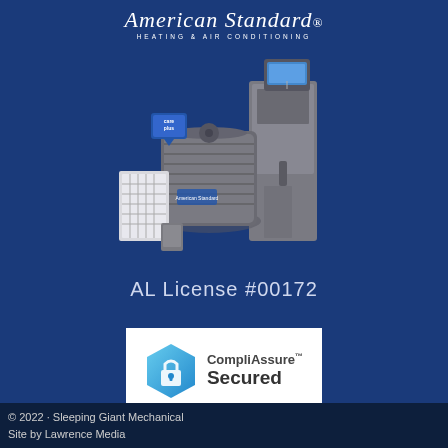[Figure (logo): American Standard Heating & Air Conditioning logo with white italic script text and subtitle]
[Figure (photo): American Standard HVAC product photo showing outdoor AC unit, indoor air handler, air filter, and thermostat with Care Plus badge]
AL License #00172
[Figure (logo): CompliAssure Secured powered by Aperia badge — white box with blue hexagon lock icon and text]
© 2022 · Sleeping Giant Mechanical
Site by Lawrence Media